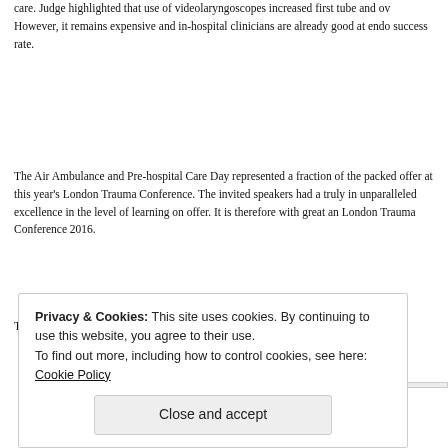care. Judge highlighted that use of videolaryngoscopes increased first tube and ov However, it remains expensive and in-hospital clinicians are already good at endo success rate.
The Air Ambulance and Pre-hospital Care Day represented a fraction of the packed offer at this year's London Trauma Conference. The invited speakers had a truly in unparalleled excellence in the level of learning on offer. It is therefore with great an London Trauma Conference 2016.
Taken from Journal of Paramedic Practice, published 8 January 2016.
Advertisements
[Figure (other): Advertisement banner partially visible]
Privacy & Cookies: This site uses cookies. By continuing to use this website, you agree to their use. To find out more, including how to control cookies, see here: Cookie Policy